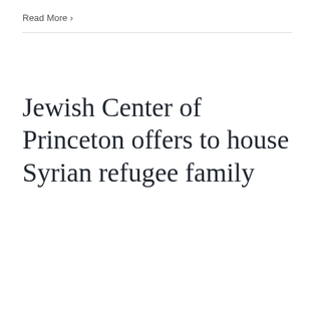Read More >
Jewish Center of Princeton offers to house Syrian refugee family